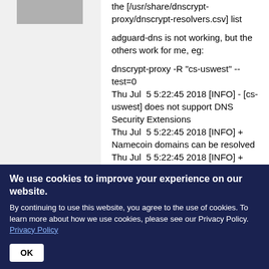[Figure (other): Avatar/profile image placeholder (grey rectangle)]
the [/usr/share/dnscrypt-proxy/dnscrypt-resolvers.csv] list

adguard-dns is not working, but the others work for me, eg:

dnscrypt-proxy -R "cs-uswest" --test=0
Thu Jul  5 5:22:45 2018 [INFO] - [cs-uswest] does not support DNS Security Extensions
Thu Jul  5 5:22:45 2018 [INFO] + Namecoin domains can be resolved
Thu Jul  5 5:22:45 2018 [INFO] +
We use cookies to improve your experience on our website.

By continuing to use this website, you agree to the use of cookies. To learn more about how we use cookies, please see our Privacy Policy.
Privacy Policy

OK